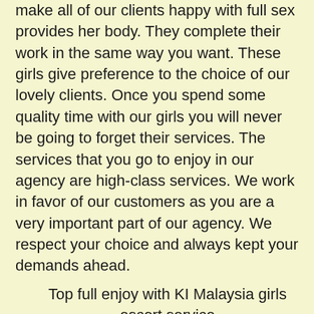make all of our clients happy with full sex provides her body. They complete their work in the same way you want. These girls give preference to the choice of our lovely clients. Once you spend some quality time with our girls you will never be going to forget their services. The services that you go to enjoy in our agency are high-class services. We work in favor of our customers as you are a very important part of our agency. We respect your choice and always kept your demands ahead.
Top full enjoy with KI Malaysia girls escort service
Call / WhatsApp ☎ +919953274109 You are Sleeping alone is a waste of your sexual talent when our female escorts in KI Malaysia are there to sleep with you anytime 24*7 day. Our teen girls are craving to satisfy your lust so there is no reason to go on the bed alone. Housewife Paid Sex in KI Malaysia with our escort models is like money even too much is not enough when sleeping with our KI Malaysia city Girls. You can place all possible demands and when you